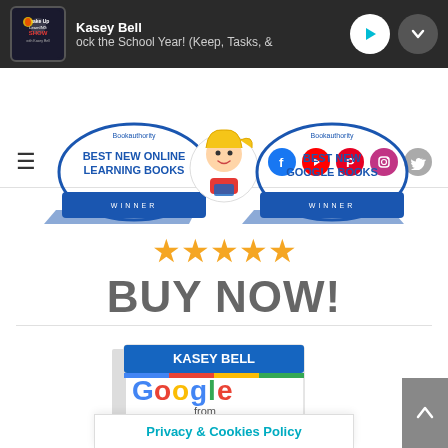[Figure (screenshot): Podcast player bar showing 'Shake Up Learning Show' with Kasey Bell, episode about school year tips. White play and dropdown buttons on dark background.]
[Figure (screenshot): Navigation bar with hamburger menu, search icon, and social media icons (Facebook, YouTube, Pinterest, Instagram, Twitter).]
[Figure (illustration): Two BookAuthority award badges: 'Best New Online Learning Books Winner' and 'Best New Google Books Winner', with a cartoon girl character in the center.]
[Figure (illustration): Five gold stars rating display above 'BUY NOW!' text in bold gray letters.]
[Figure (photo): Book cover for 'Google from A to Z' by Kasey Bell, showing Google logo in multicolor letters on white book cover with blue header band.]
Privacy & Cookies Policy